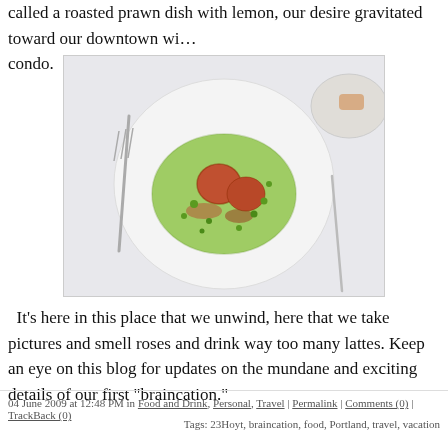called a roasted prawn dish with lemon, our desire gravitated toward our downtown condo.
[Figure (photo): A white bowl containing seared scallops on a green sauce with mushrooms and peas, with a fork and knife visible on a white tablecloth.]
It's here in this place that we unwind, here that we take pictures and smell roses and drink way too many lattes. Keep an eye on this blog for updates on the mundane and exciting details of our first "braincation."
04 June 2009 at 12:48 PM in Food and Drink, Personal, Travel | Permalink | Comments (0) | TrackBack (0)
Tags: 23Hoyt, braincation, food, Portland, travel, vacation